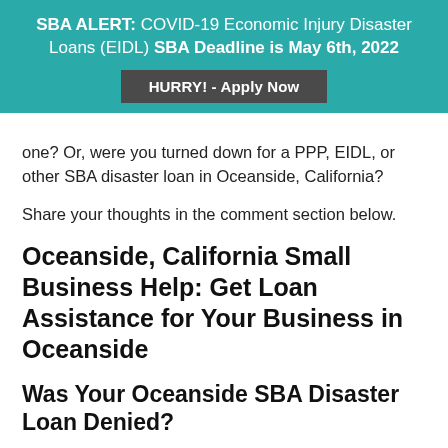SBA ALERT: COVID-19 Economic Injury Disaster Loans (EIDL) SBA Deadline is May 6th, 2022
HURRY! - Apply Now
one? Or, were you turned down for a PPP, EIDL, or other SBA disaster loan in Oceanside, California?
Share your thoughts in the comment section below.
Oceanside, California Small Business Help: Get Loan Assistance for Your Business in Oceanside
Was Your Oceanside SBA Disaster Loan Denied?
Has your Oceanside SBA disaster EIDL loan been